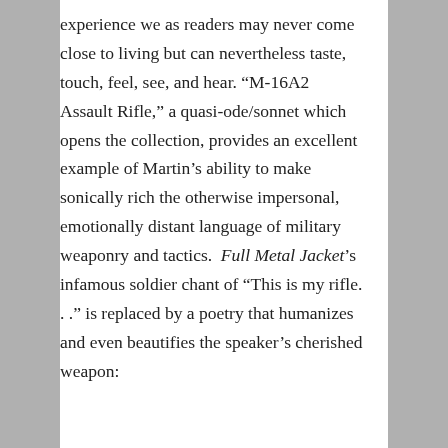experience we as readers may never come close to living but can nevertheless taste, touch, feel, see, and hear. “M-16A2 Assault Rifle,” a quasi-ode/sonnet which opens the collection, provides an excellent example of Martin’s ability to make sonically rich the otherwise impersonal, emotionally distant language of military weaponry and tactics. Full Metal Jacket’s infamous soldier chant of “This is my rifle. . .” is replaced by a poetry that humanizes and even beautifies the speaker’s cherished weapon: